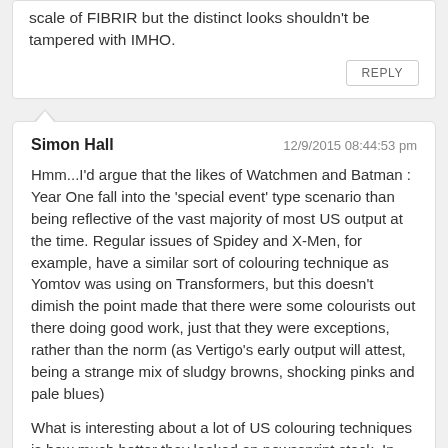scale of FIBRIR but the distinct looks shouldn't be tampered with IMHO.
REPLY
Simon Hall  12/9/2015 08:44:53 pm
Hmm...I'd argue that the likes of Watchmen and Batman : Year One fall into the 'special event' type scenario than being reflective of the vast majority of most US output at the time. Regular issues of Spidey and X-Men, for example, have a similar sort of colouring technique as Yomtov was using on Transformers, but this doesn't dimish the point made that there were some colourists out there doing good work, just that they were exceptions, rather than the norm (as Vertigo's early output will attest, being a strange mix of sludgy browns, shocking pinks and pale blues)
What is interesting about a lot of US colouring techniques is how much better they looked on newssprint stock. In some instances where issues have been collected for trades and reprinted on a higher grade of paper, there's a greater degree of 'flattening' of the colours. Take Sara Mossof's Transformers: Generation 2 work as an example. The colours